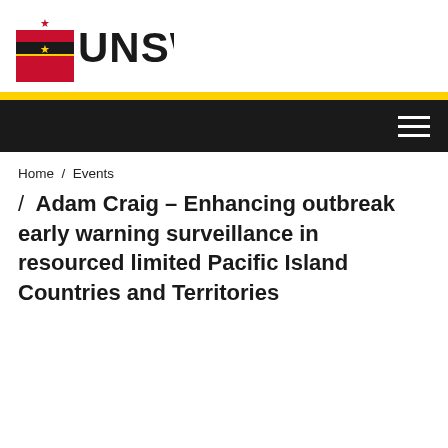[Figure (logo): UNSW Sydney logo with crest and UNSW wordmark]
Home / Events / Adam Craig – Enhancing outbreak early warning surveillance in resourced limited Pacific Island Countries and Territories
Adam Craig – Enhancing outbreak early warning surveillance in resourced limited Pacific Island Countries and Territories